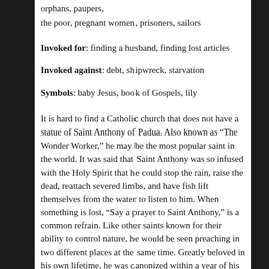orphans, paupers,
the poor, pregnant women, prisoners, sailors
Invoked for: finding a husband, finding lost articles
Invoked against: debt, shipwreck, starvation
Symbols: baby Jesus, book of Gospels, lily
It is hard to find a Catholic church that does not have a statue of Saint Anthony of Padua. Also known as “The Wonder Worker,” he may be the most popular saint in the world. It was said that Saint Anthony was so infused with the Holy Spirit that he could stop the rain, raise the dead, reattach severed limbs, and have fish lift themselves from the water to listen to him. When something is lost, “Say a prayer to Saint Anthony,” is a common refrain. Like other saints known for their ability to control nature, he would be seen preaching in two different places at the same time. Greatly beloved in his own lifetime, he was canonized within a year of his death, the second quickest canonization in Church